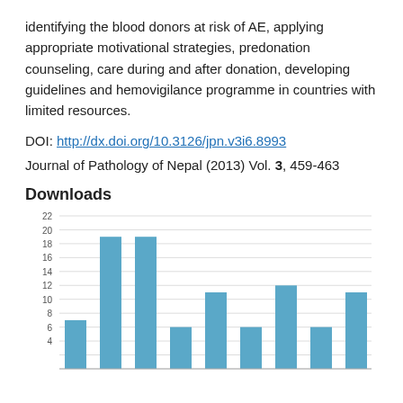identifying the blood donors at risk of AE, applying appropriate motivational strategies, predonation counseling, care during and after donation, developing guidelines and hemovigilance programme in countries with limited resources.
DOI: http://dx.doi.org/10.3126/jpn.v3i6.8993
Journal of Pathology of Nepal (2013) Vol. 3, 459-463
Downloads
[Figure (bar-chart): Downloads]